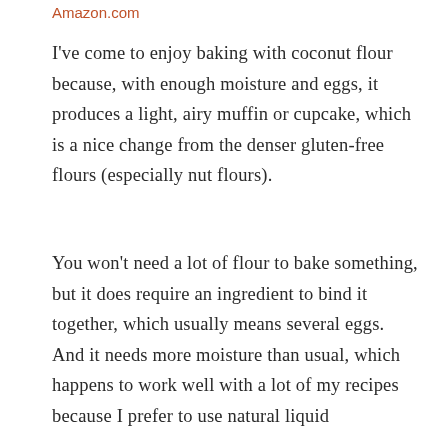Amazon.com
I've come to enjoy baking with coconut flour because, with enough moisture and eggs, it produces a light, airy muffin or cupcake, which is a nice change from the denser gluten-free flours (especially nut flours).
You won't need a lot of flour to bake something, but it does require an ingredient to bind it together, which usually means several eggs. And it needs more moisture than usual, which happens to work well with a lot of my recipes because I prefer to use natural liquid